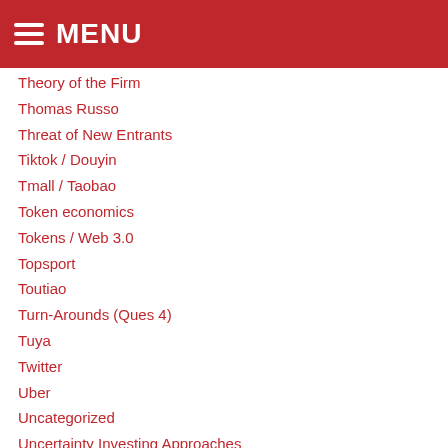MENU
Theory of the Firm
Thomas Russo
Threat of New Entrants
Tiktok / Douyin
Tmall / Taobao
Token economics
Tokens / Web 3.0
Topsport
Toutiao
Turn-Arounds (Ques 4)
Tuya
Twitter
Uber
Uncategorized
Uncertainty Investing Approaches
Uniswap
Unity
Valuation (Question 3)
Value creation vs distribution
Value Point / Surgical Value Add (Question 7)